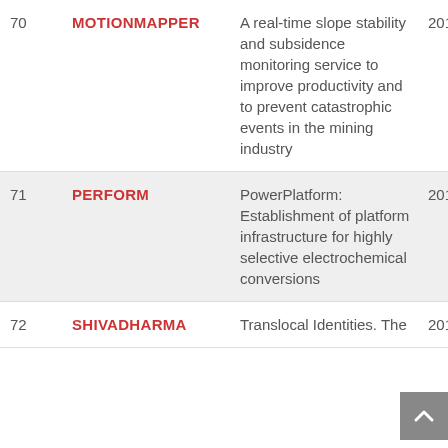| # | Name | Description | Year |
| --- | --- | --- | --- |
| 70 | MOTIONMAPPER | A real-time slope stability and subsidence monitoring service to improve productivity and to prevent catastrophic events in the mining industry | 201 |
| 71 | PERFORM | PowerPlatform: Establishment of platform infrastructure for highly selective electrochemical conversions | 201 |
| 72 | SHIVADHARMA | Translocal Identities. The | 201 |